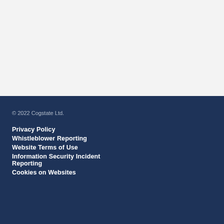© 2022 Cogstate Ltd.
Privacy Policy
Whistleblower Reporting
Website Terms of Use
Information Security Incident Reporting
Cookies on Websites